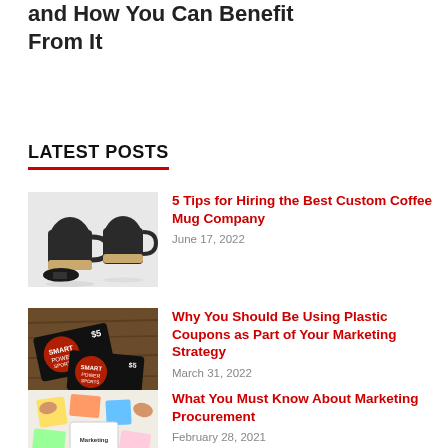and How You Can Benefit From It
LATEST POSTS
[Figure (photo): Two dark custom coffee mugs with cork bases and handles, with a lid shown]
5 Tips for Hiring the Best Custom Coffee Mug Company
June 17, 2022
[Figure (photo): Smart Power Sports plastic gift/coupon cards on a wooden table]
Why You Should Be Using Plastic Coupons as Part of Your Marketing Strategy
March 31, 2022
[Figure (photo): Overhead view of hands around marketing-related items including sticky notes and cards with the word Marketing written]
What You Must Know About Marketing Procurement
February 28, 2021